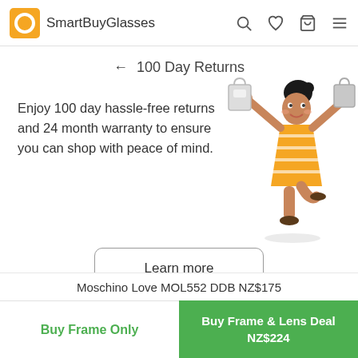SmartBuyGlasses
← 100 Day Returns
Enjoy 100 day hassle-free returns and 24 month warranty to ensure you can shop with peace of mind.
[Figure (illustration): Cartoon illustration of a happy woman in an orange striped dress holding shopping bags]
Learn more
Earn Rewards
Moschino Love MOL552 DDB NZ$175
Buy Frame Only
Buy Frame & Lens Deal NZ$224